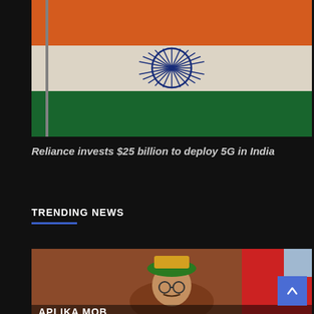[Figure (photo): Indian national flag (tricolor - saffron, white, green) waving against a light blue sky on a flagpole]
Reliance invests $25 billion to deploy 5G in India
TRENDING NEWS
[Figure (photo): A man wearing glasses and a traditional green and yellow headdress, speaking at what appears to be a public event, with text APLIKA MOB partially visible at the bottom]